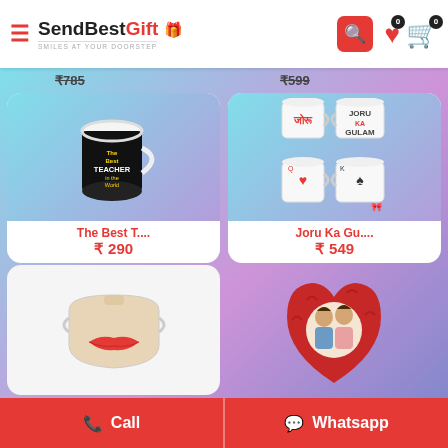SendBestGift — SMILES AT YOUR DOORSTEP
₹785 ₹599
[Figure (photo): White ceramic mug with black background text 'The Best Teacher in the World']
The Best T.... ₹ 290
[Figure (photo): Two pairs of white mugs: top pair with Joru/Gulam text, bottom pair with playing card designs]
Joru Ka Gu.... ₹ 549
[Figure (photo): Beige face mask with red lips design]
[Figure (photo): Red heart-shaped fluffy pillow with couple photo insert]
Call
Whatsapp